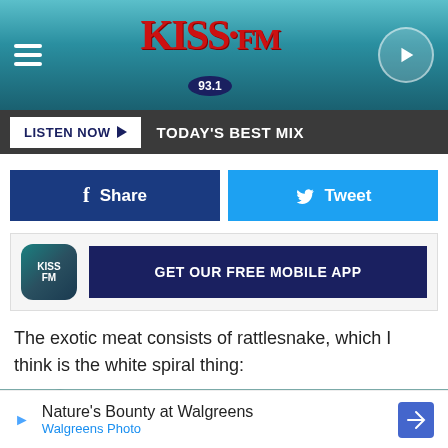[Figure (logo): KISS FM 93.1 radio station logo with teal gradient header, hamburger menu icon on left, play button on right]
LISTEN NOW ▶  TODAY'S BEST MIX
[Figure (infographic): Social share buttons: blue Facebook Share button and light blue Twitter Tweet button]
[Figure (infographic): GET OUR FREE MOBILE APP banner with KISS FM app icon]
The exotic meat consists of rattlesnake, which I think is the white spiral thing:
[Figure (photo): Close-up photo of white spiral-shaped raw meat (rattlesnake) wrapped in plastic on a decorative plate]
[Figure (infographic): Advertisement: Nature's Bounty at Walgreens - Walgreens Photo]